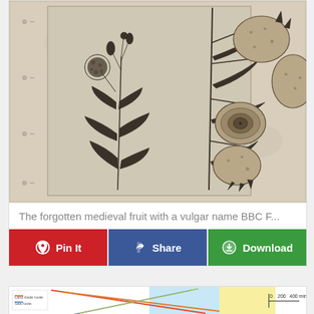[Figure (illustration): Vintage botanical engraving showing two plants: on the left, a tall flowering plant with spherical flower heads and leaves; on the right, a fruiting branch with large spotted/textured oval fruits and leaves. Black and white engraving on aged parchment-colored background.]
The forgotten medieval fruit with a vulgar name BBC F...
Pin It  |  Share  |  Download
[Figure (map): Partial view of a map or chart with colored lines and a scale bar showing 0, 200, 400 mins, partially visible at the bottom of the page.]